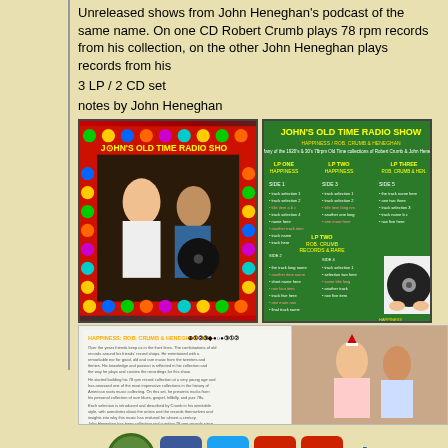Unreleased shows from John Heneghan's podcast of the same name. On one CD Robert Crumb plays 78 rpm records from his collection, on the other John Heneghan plays records from his
3 LP / 2 CD set
notes by John Heneghan
[Figure (photo): John's Old Time Radio Show album cover - left panel showing man and woman with vinyl records, colorful border]
[Figure (photo): John's Old Time Radio Show - green tracklist/info panel]
[Figure (photo): Bottom image showing album liner notes and couple photo]
[Figure (infographic): Social media icons: home, Facebook, Twitter, YouTube, Pinterest, eBay]
Willie & Rich Trice discography (latest date of editing: 05/17/2019)
© responsible for contents: Stefan Wirz
00593081
counting 'American Music' since 12/08/2019